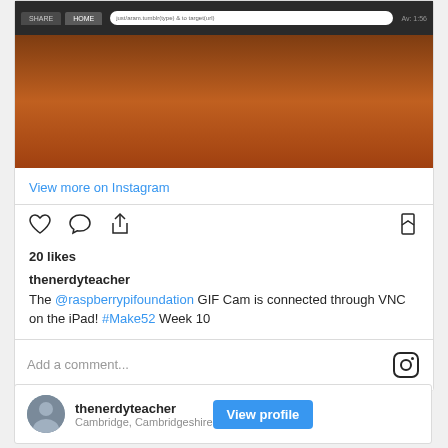[Figure (screenshot): Instagram post screenshot showing a photo of a wooden desk surface with a dark menu bar at the top showing browser tabs and a URL bar.]
View more on Instagram
20 likes
thenerdyteacher The @raspberrypifoundation GIF Cam is connected through VNC on the iPad! #Make52 Week 10
Add a comment...
thenerdyteacher Cambridge, Cambridgeshire
View profile